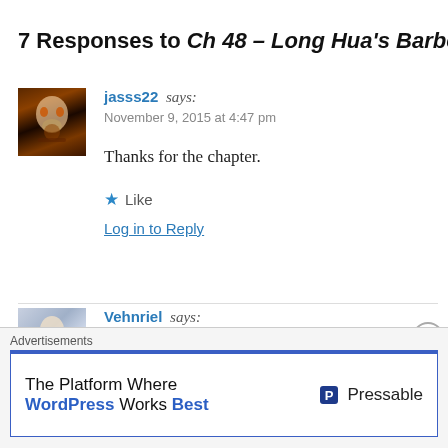7 Responses to Ch 48 – Long Hua's Barbeq…
jasss22 says:
November 9, 2015 at 4:47 pm

Thanks for the chapter.

★ Like
Log in to Reply
Vehnriel says:
November 9, 2015 at 4:49 pm